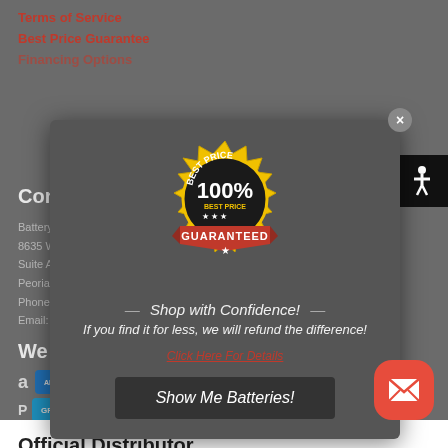Terms of Service
Best Price Guarantee
Financing Options
Contact Info
BatteryGuys.com
8635 W. Happy Valley Rd.
Suite A-106 ​​
Peoria, AZ 85383
Phone: 800-555-0100
Email: support@…
We Accept
[Figure (infographic): Best Price Guaranteed badge: gold seal with '100% BEST PRICE GUARANTEED' text and red ribbon banner]
Shop with Confidence!
If you find it for less, we will refund the difference!
Click Here For Details
Show Me Batteries!
Official Distributor